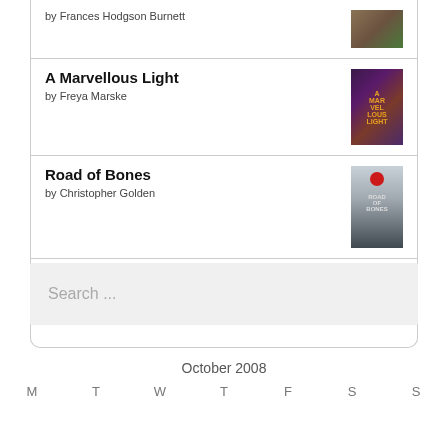by Frances Hodgson Burnett
A Marvellous Light
by Freya Marske
Road of Bones
by Christopher Golden
[Figure (logo): goodreads logo button with rounded rectangle border]
Search ...
October 2008
M    T    W    T    F    S    S